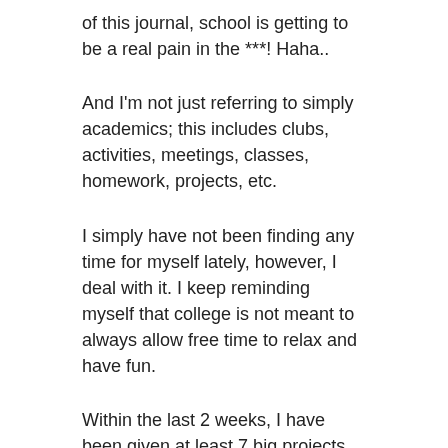of this journal, school is getting to be a real pain in the ***! Haha..
And I'm not just referring to simply academics; this includes clubs, activities, meetings, classes, homework, projects, etc.
I simply have not been finding any time for myself lately, however, I deal with it. I keep reminding myself that college is not meant to always allow free time to relax and have fun.
Within the last 2 weeks, I have been given at least 7 big projects for classes all due within a week of each other, piles of papers to write, endless meetings and interviews with clubs and activities on campus and to top it all off, I got a job! YES, readers, Vick got an on-campus job. However, I prefer not to say what it is (because the Riddle Flight is a fine right to report to, haha).